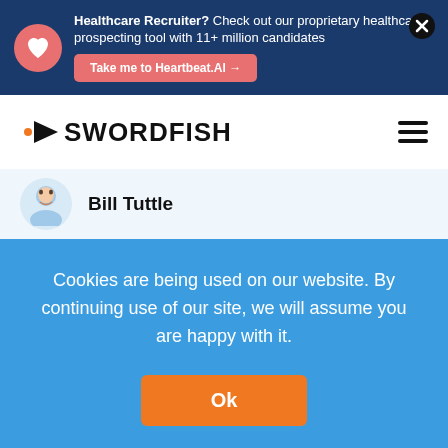[Figure (screenshot): Healthcare Recruiter banner with Heartbeat.AI logo and CTA button]
[Figure (logo): Swordfish logo with orange arrow and bold text, hamburger menu icon on right]
[Figure (screenshot): Profile card showing Bill Tuttle with avatar icon]
Cookies are being used on our website. By continuing use of our site, we will assume you are happy with it.
Ok